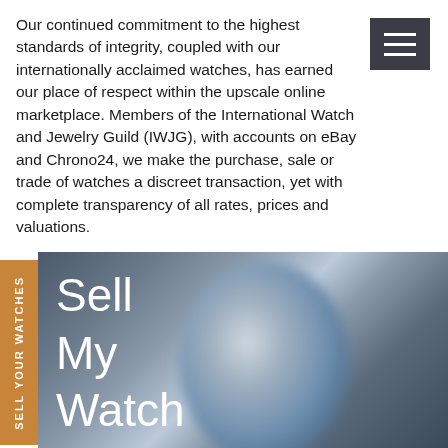[Figure (screenshot): Dark hamburger menu button (three horizontal white lines on dark grey background) in the top right corner of a mobile web page]
Our continued commitment to the highest standards of integrity, coupled with our internationally acclaimed watches, has earned our place of respect within the upscale online marketplace. Members of the International Watch and Jewelry Guild (IWJG), with accounts on eBay and Chrono24, we make the purchase, sale or trade of watches a discreet transaction, yet with complete transparency of all rates, prices and valuations.
[Figure (photo): Blurred close-up photo of a luxury watch face with blue/grey tones, overlaid with large white text reading 'Sell My Watch']
SELL YOUR WATCHES